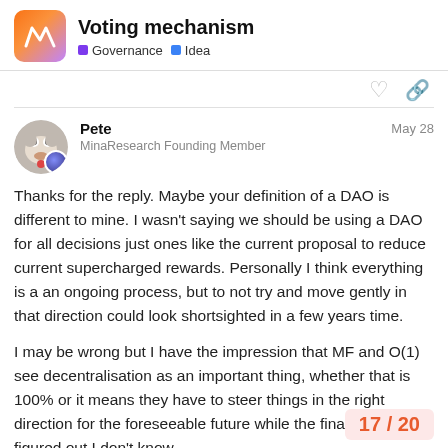Voting mechanism — Governance • Idea
Pete
MinaResearch Founding Member
May 28
Thanks for the reply. Maybe your definition of a DAO is different to mine. I wasn't saying we should be using a DAO for all decisions just ones like the current proposal to reduce current supercharged rewards. Personally I think everything is a an ongoing process, but to not try and move gently in that direction could look shortsighted in a few years time.

I may be wrong but I have the impression that MF and O(1) see decentralisation as an important thing, whether that is 100% or it means they have to steer things in the right direction for the foreseeable future while the final details get figured out I don't know.
17 / 20